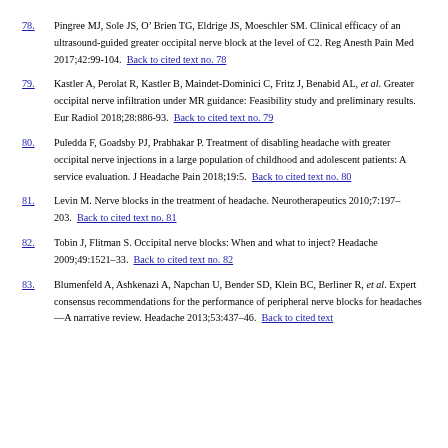78. Pingree MJ, Sole JS, O'Brien TG, Eldrige JS, Moeschler SM. Clinical efficacy of an ultrasound-guided greater occipital nerve block at the level of C2. Reg Anesth Pain Med 2017;42:99-104. Back to cited text no. 78
79. Kastler A, Perolat R, Kastler B, Maindet-Dominici C, Fritz J, Benabid AL, et al. Greater occipital nerve infiltration under MR guidance: Feasibility study and preliminary results. Eur Radiol 2018;28:886-93. Back to cited text no. 79
80. Puledda F, Goadsby PJ, Prabhakar P. Treatment of disabling headache with greater occipital nerve injections in a large population of childhood and adolescent patients: A service evaluation. J Headache Pain 2018;19:5. Back to cited text no. 80
81. Levin M. Nerve blocks in the treatment of headache. Neurotherapeutics 2010;7:197–203. Back to cited text no. 81
82. Tobin J, Flitman S. Occipital nerve blocks: When and what to inject? Headache 2009;49:1521–33. Back to cited text no. 82
83. Blumenfeld A, Ashkenazi A, Napchan U, Bender SD, Klein BC, Berliner R, et al. Expert consensus recommendations for the performance of peripheral nerve blocks for headaches—A narrative review. Headache 2013;53:437–46. Back to cited text no. 83